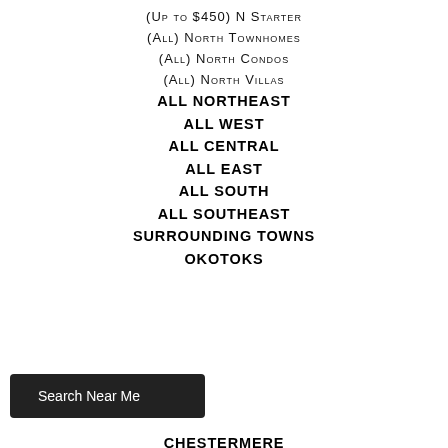(Up to $450) N Starter
(All) North Townhomes
(All) North Condos
(All) North Villas
ALL NORTHEAST
ALL WEST
ALL CENTRAL
ALL EAST
ALL SOUTH
ALL SOUTHEAST
SURROUNDING TOWNS
OKOTOKS
CHESTERMERE
Search Near Me